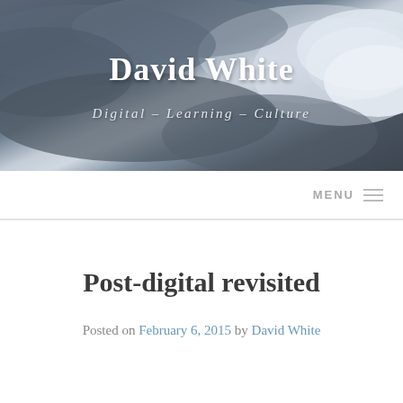[Figure (photo): Dark cloudy sky header banner background with grey and blue tones, light breaking through clouds on the right side]
David White
Digital – Learning – Culture
MENU ☰
Post-digital revisited
Posted on February 6, 2015 by David White